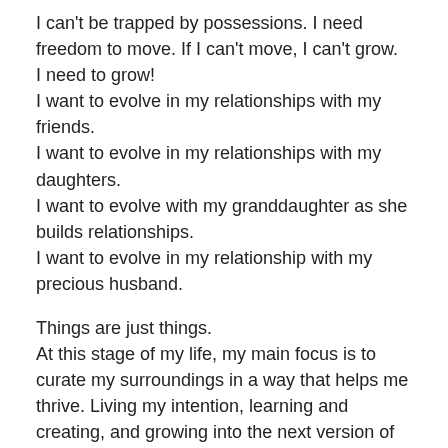I can't be trapped by possessions. I need freedom to move. If I can't move, I can't grow.
I need to grow!
I want to evolve in my relationships with my friends.
I want to evolve in my relationships with my daughters.
I want to evolve with my granddaughter as she builds relationships.
I want to evolve in my relationship with my precious husband.
Things are just things.
At this stage of my life, my main focus is to curate my surroundings in a way that helps me thrive. Living my intention, learning and creating, and growing into the next version of me gives me all the feels.